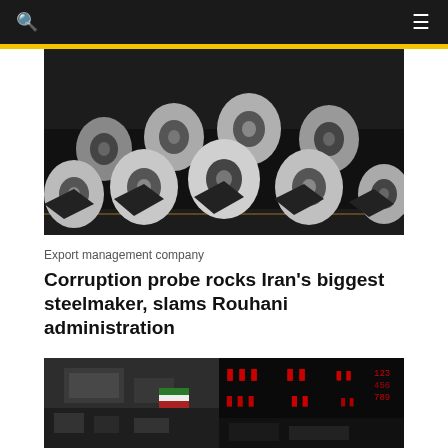[Figure (photo): Steel coils/rolls stacked in an industrial facility, silver metallic rolls on a dark factory floor with yellow markings]
Export management company
Corruption probe rocks Iran's biggest steelmaker, slams Rouhani administration
[Figure (photo): Iranian stock exchange trading floor with large red LED display boards showing stock ticker data, people visible in the background with Iranian flag]